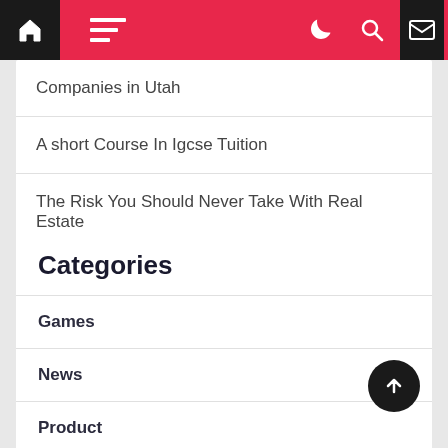Navigation bar with home, menu, dark mode, search, and email icons
Companies in Utah
A short Course In Igcse Tuition
The Risk You Should Never Take With Real Estate
Categories
Games
News
Product
Blogging
Shopping